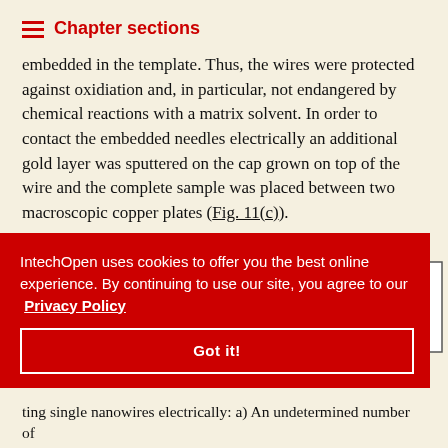Chapter sections
embedded in the template. Thus, the wires were protected against oxidiation and, in particular, not endangered by chemical reactions with a matrix solvent. In order to contact the embedded needles electrically an additional gold layer was sputtered on the cap grown on top of the wire and the complete sample was placed between two macroscopic copper plates (Fig. 11(c)).
IntechOpen uses cookies to offer you the best online experience. By continuing to use our site, you agree to our Privacy Policy
[Figure (engineering-diagram): Diagram showing electrode layers and sample assembly with labeled Electrode I, plate layers in orange and yellow]
Got it!
...ting single nanowires electrically: a) An undetermined number of